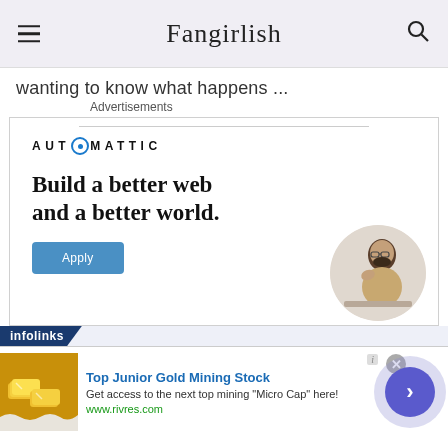Fangirlish
wanting to know what happens ...
Advertisements
[Figure (infographic): Automattic advertisement banner: AUTOMATTIC logo at top, headline 'Build a better web and a better world.', blue Apply button, and circular image of man thinking at desk.]
[Figure (infographic): Infolinks bottom banner ad: 'Top Junior Gold Mining Stock' with gold bars image, description 'Get access to the next top mining Micro Cap here!', url www.rivres.com, close button and blue arrow navigation button.]